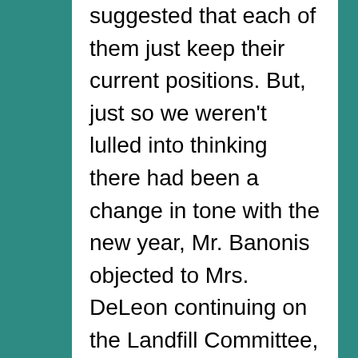suggested that each of them just keep their current positions. But, just so we weren't lulled into thinking there had been a change in tone with the new year, Mr. Banonis objected to Mrs. DeLeon continuing on the Landfill Committee, citing the need for a “new start” in the relationship with the landfill owners. Mrs. DeLeon, who has served on the Landfill Committee for more than a decade and therefore has more experience with the landfill’s concerns than any other Council member, opposed her ouster. Mr